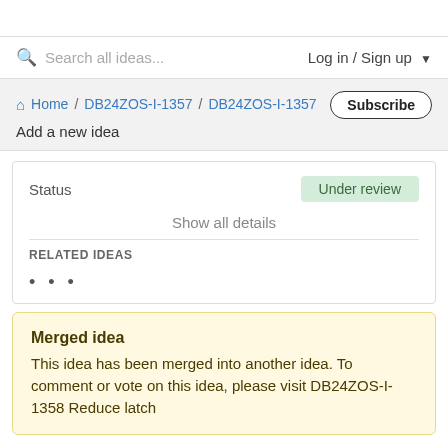Search all ideas...   Log in / Sign up
Home / DB24ZOS-I-1357 / DB24ZOS-I-1357
Add a new idea
Subscribe
Status     Under review
Show all details
RELATED IDEAS
...
Merged idea
This idea has been merged into another idea. To comment or vote on this idea, please visit DB24ZOS-I-1358 Reduce latch